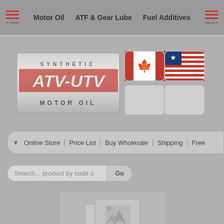Motor Oil | ATF & Gear Lube | Fuel Additives
[Figure (logo): Synthetic ATV-UTV Motor Oil logo with Canadian and American flag icons]
Online Store | Price List | Buy Wholesale | Shipping | Free
Search... product by code o
[Figure (photo): Missing image placeholder with broken image icon]